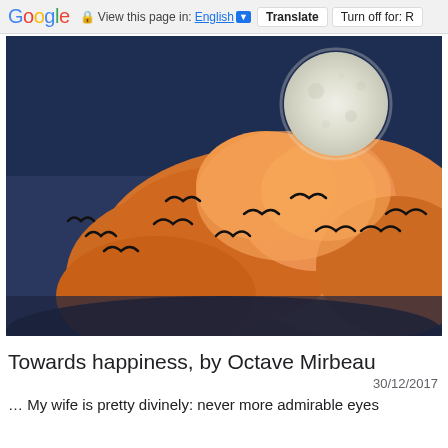Google  View this page in: English [▼]  Translate  Turn off for: R
[Figure (photo): Dramatic photo of birds flying in silhouette against a dark blue sky with a large full moon and glowing orange-golden cumulus clouds below]
Towards happiness, by Octave Mirbeau
30/12/2017
… My wife is pretty divinely: never more admirable eyes